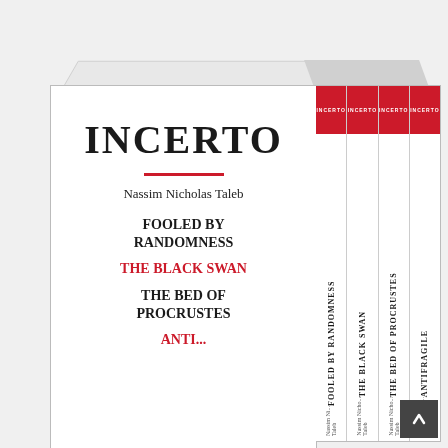[Figure (photo): Product photo of the Incerto box set by Nassim Nicholas Taleb, showing the front face of the box with title INCERTO, author name Nassim Nicholas Taleb, and book titles Fooled by Randomness, The Black Swan, The Bed of Procrustes, and Antifragile (partially visible). Four book spines are visible on the right side of the box, each with a red top band labeled INCERTO and the individual book titles written vertically.]